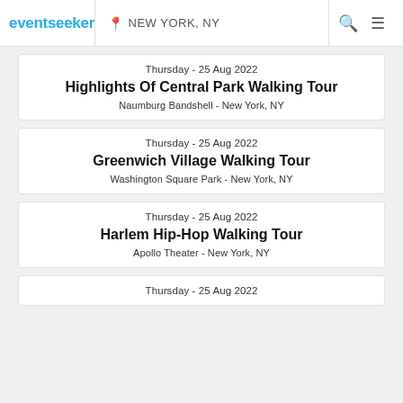eventseeker | NEW YORK, NY
Thursday - 25 Aug 2022
Highlights Of Central Park Walking Tour
Naumburg Bandshell - New York, NY
Thursday - 25 Aug 2022
Greenwich Village Walking Tour
Washington Square Park - New York, NY
Thursday - 25 Aug 2022
Harlem Hip-Hop Walking Tour
Apollo Theater - New York, NY
Thursday - 25 Aug 2022